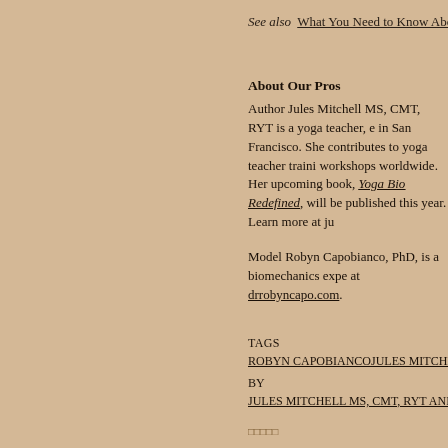See also  What You Need to Know About Your Thoracio
About Our Pros
Author Jules Mitchell MS, CMT, RYT is a yoga teacher, e... in San Francisco. She contributes to yoga teacher traini... workshops worldwide. Her upcoming book, Yoga Biomechanics Redefined, will be published this year. Learn more at ju...
Model Robyn Capobianco, PhD, is a biomechanics expe... at drrobyncapo.com.
TAGS
ROBYN CAPOBIANCOJULES MITCHELL
BY
JULES MITCHELL MS, CMT, RYT AND ROBYN CAPOBIANC...
□□□□□